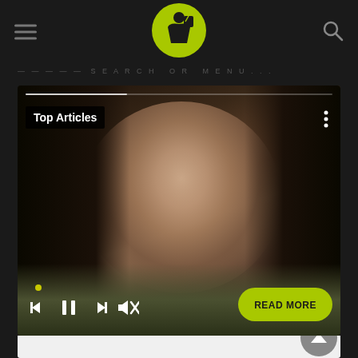[Figure (logo): Lime green circular logo with person drinking icon, on dark background navigation bar with hamburger menu on left and search icon on right]
SEARCH OR MENU...
[Figure (screenshot): Video player showing a woman with dark hair, with Top Articles label, media controls (skip back, pause, skip forward, mute), READ MORE button, and a progress bar at the top]
[Figure (other): White content area at bottom with gray scroll-to-top circular button]